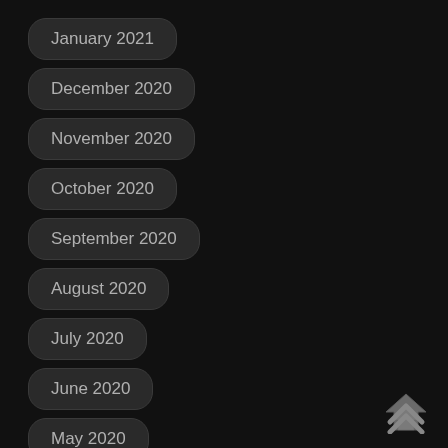January 2021
December 2020
November 2020
October 2020
September 2020
August 2020
July 2020
June 2020
May 2020
April 2020
March 2020
[Figure (illustration): Up arrow chevron icon in grey on dark background, bottom-right corner]